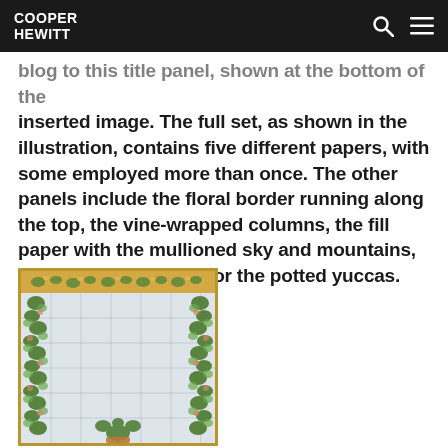COOPER HEWITT
blog to this title panel, shown at the bottom of the inserted image. The full set, as shown in the illustration, contains five different papers, with some employed more than once. The other panels include the floral border running along the top, the vine-wrapped columns, the fill paper with the mullioned sky and mountains, and a separate panel for the potted yuccas.
[Figure (photo): Decorative wallpaper panel showing vine-wrapped columns, a floral border at top, mullioned grid pattern suggesting sky and mountains, with green foliage and potted yuccas visible at bottom, framed with a gold border.]